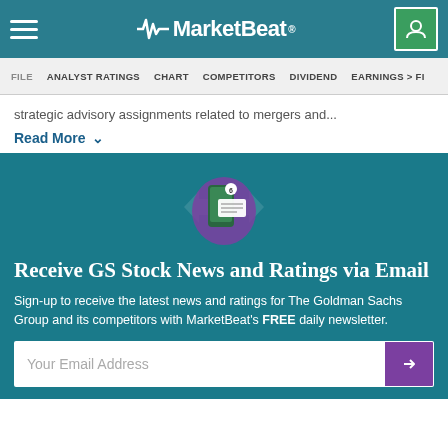MarketBeat
FILE | ANALYST RATINGS | CHART | COMPETITORS | DIVIDEND | EARNINGS > FI
strategic advisory assignments related to mergers and...
Read More
[Figure (illustration): Mobile phone notification icon with email/notification graphic on teal background with arrow decorations]
Receive GS Stock News and Ratings via Email
Sign-up to receive the latest news and ratings for The Goldman Sachs Group and its competitors with MarketBeat's FREE daily newsletter.
Your Email Address